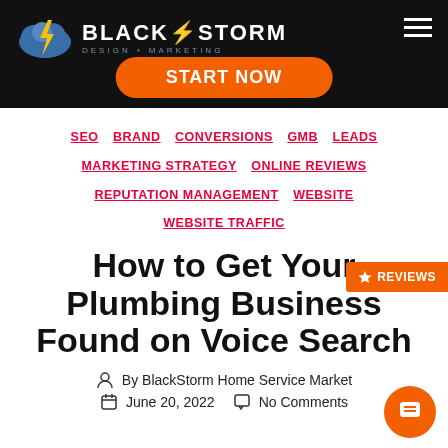[Figure (logo): BlackStorm Design + Marketing logo with cloud and lightning bolt, white text on black header with START NOW orange button and hamburger menu]
SEO  BRAND  CONVERSIONS  GMB  LEADS  MARKETING STRATEGY  ONLINE REVIEWS  REPUTATION MANAGEMENT  WEBSITE  WEBSITE TRAFFIC
How to Get Your Plumbing Business Found on Voice Search
By BlackStorm Home Service Market...
June 20, 2022    No Comments